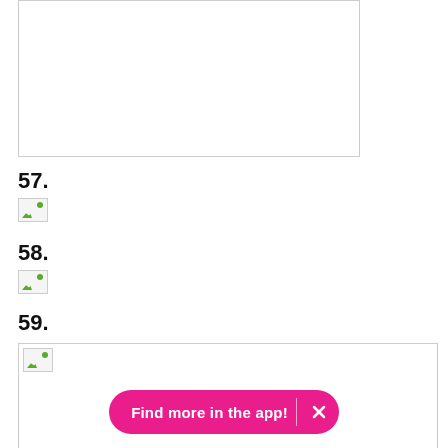[Figure (other): Empty white box with border at top of page]
57.
[Figure (other): Small broken image placeholder for item 57]
58.
[Figure (other): Small broken image placeholder for item 58]
59.
[Figure (other): Large image placeholder box for item 59 with broken image icon]
Find more in the app!